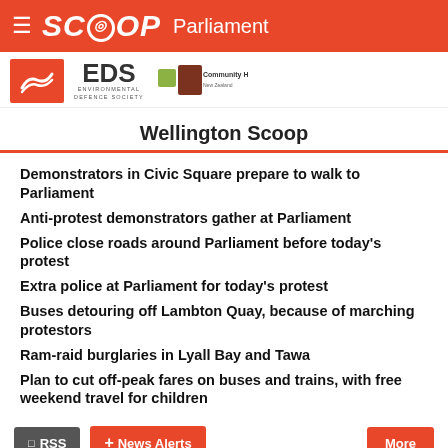SCOOP Parliament
[Figure (logo): Logos: red box with wave icon, EDS Environmental Defence Society, Community Housing]
Wellington Scoop
Demonstrators in Civic Square prepare to walk to Parliament
Anti-protest demonstrators gather at Parliament
Police close roads around Parliament before today's protest
Extra police at Parliament for today's protest
Buses detouring off Lambton Quay, because of marching protestors
Ram-raid burglaries in Lyall Bay and Tawa
Plan to cut off-peak fares on buses and trains, with free weekend travel for children
RSS  News Alerts  More